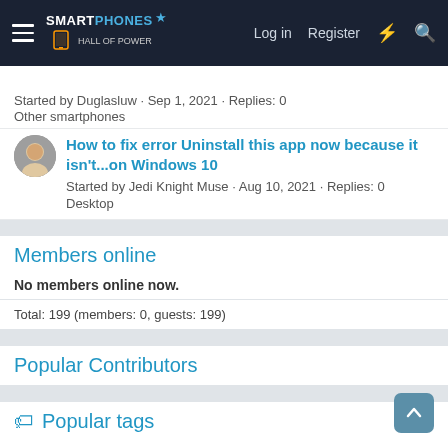SMARTPHONES — Log in | Register
Started by Duglasluw · Sep 1, 2021 · Replies: 0
Other smartphones
How to fix error Uninstall this app now because it isn't...on Windows 10
Started by Jedi Knight Muse · Aug 10, 2021 · Replies: 0
Desktop
Members online
No members online now.
Total: 199 (members: 0, guests: 199)
Popular Contributors
Popular tags